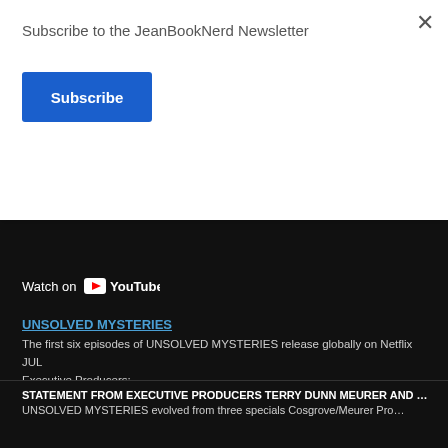Subscribe to the JeanBookNerd Newsletter
Subscribe
[Figure (screenshot): YouTube embedded video player showing Watch on YouTube button with YouTube logo]
UNSOLVED MYSTERIES
The first six episodes of UNSOLVED MYSTERIES release globally on Netflix JUL
Executive Producers:
Cosgrove/Meurer Productions:
Terry Dunn Meurer, John Cosgrove, Robert M. Wise
21 Laps Entertainment:
Shawn Levy, Josh Barry
Directors of Volume 1:
Marcus A. Clarke: “Mystery on the Rooftop” “No Ride Home” “Berkshire’s UFO”
Jimmy Goldblum: “13 Minutes”
Clay Jeter: “House of Terror” “Missing Witness”
STATEMENT FROM EXECUTIVE PRODUCERS TERRY DUNN MEURER AND …
UNSOLVED MYSTERIES evolved from three specials Cosgrove/Meurer Pro…